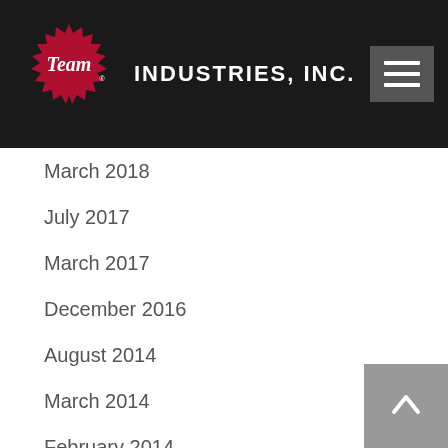Team Industries, Inc.
March 2018
July 2017
March 2017
December 2016
August 2014
March 2014
February 2014
May 2013
June 2012
April 2012
August 2011